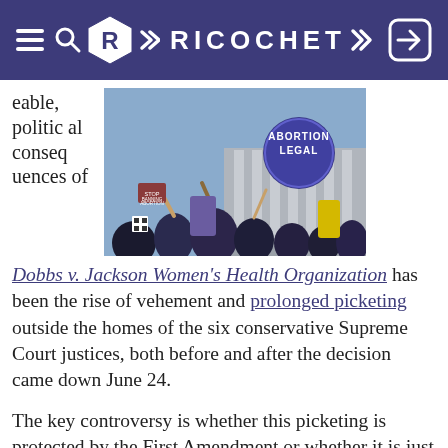RICOCHET
eable, political consequences of
[Figure (photo): Protest outside the Supreme Court with people holding an 'Abortion Legal' sign]
Dobbs v. Jackson Women's Health Organization has been the rise of vehement and prolonged picketing outside the homes of the six conservative Supreme Court justices, both before and after the decision came down June 24.
The key controversy is whether this picketing is protected by the First Amendment or whether it is just the latest version of high-tech intimidation that should be banned by forcibly removing the pickets before violence occurs. Regrettably, too many First Amendment experts, like George Washington Law